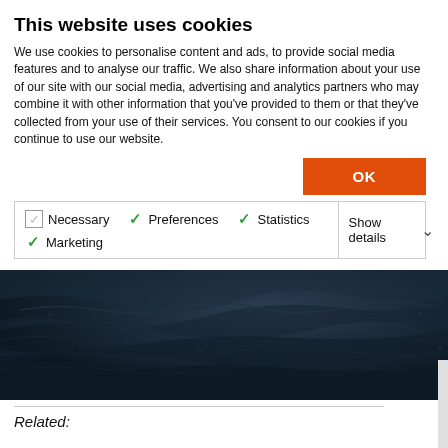This website uses cookies
We use cookies to personalise content and ads, to provide social media features and to analyse our traffic. We also share information about your use of our site with our social media, advertising and analytics partners who may combine it with other information that you've provided to them or that they've collected from your use of their services. You consent to our cookies if you continue to use our website.
[Figure (screenshot): Cookie consent dialog with OK button, checkboxes for Necessary, Preferences, Statistics, Marketing, and Show details dropdown]
[Figure (photo): Dark blue ocean water surface photograph]
Related: